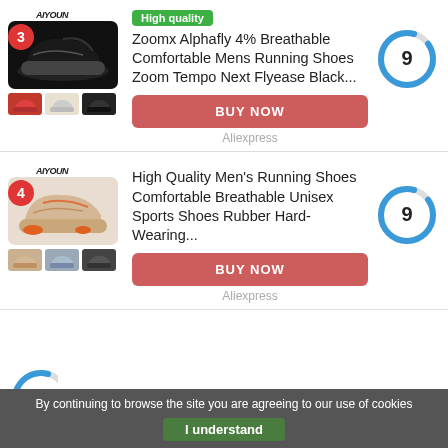[Figure (screenshot): Product card 1: Black running shoe main image with red/white/black color variant thumbnails, badge number 3, AIYOUN brand logo]
High quality
Zoomx Alphafly 4% Breathable Comfortable Mens Running Shoes Zoom Tempo Next Flyease Black...
BUY NOW
Aliexpress
[Figure (donut-chart): Score circle showing 9 out of 10, mostly blue with small grey gap at top]
[Figure (screenshot): Product card 2: Beige/tan running shoe main image with beige/grey/dark color variant thumbnails, badge number 4, AIYOUN brand logo]
High Quality Men's Running Shoes Comfortable Breathable Unisex Sports Shoes Rubber Hard-Wearing...
BUY NOW
Aliexpress
[Figure (donut-chart): Score circle showing 9 out of 10, mostly blue with small grey gap at top]
By continuing to browse the site you are agreeing to our use of cookies
I understand